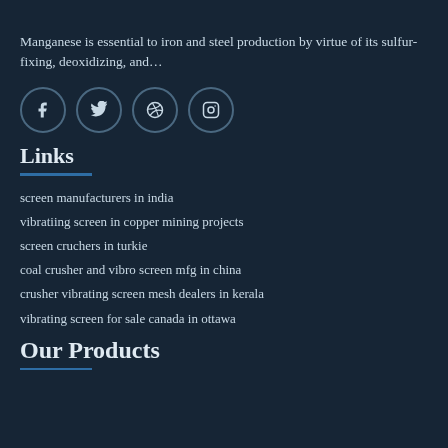Manganese is essential to iron and steel production by virtue of its sulfur-fixing, deoxidizing, and…
[Figure (infographic): Four social media icon buttons in circles: Facebook, Twitter, Dribbble, Instagram]
Links
screen manufacturers in india
vibratiing screen in copper mining projects
screen cruchers in turkie
coal crusher and vibro screen mfg in china
crusher vibrating screen mesh dealers in kerala
vibrating screen for sale canada in ottawa
Our Products